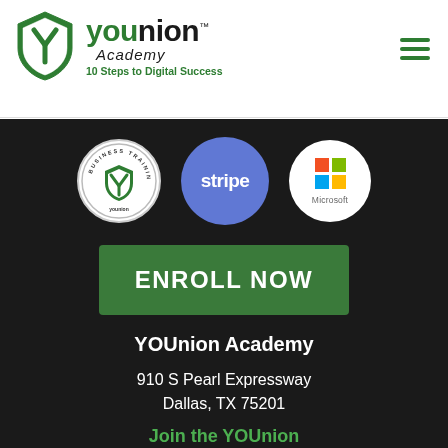[Figure (logo): YOUnion Academy logo with shield and text: YOUnion Academy, 10 Steps to Digital Success]
[Figure (logo): Hamburger menu icon (three green horizontal lines)]
[Figure (logo): Three partner logos: YOUnion Business Training Program badge, Stripe logo, Microsoft logo]
ENROLL NOW
YOUnion Academy
910 S Pearl Expressway
Dallas, TX 75201
Join the YOUnion